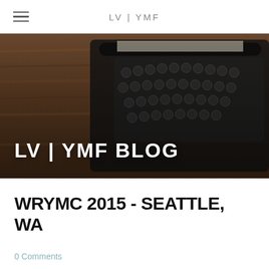LV | YMF
[Figure (photo): Overhead photo of a vintage typewriter on a dark wooden surface, sepia-toned. Overlaid white bold text reads 'LV | YMF BLOG'.]
WRYMC 2015 - SEATTLE, WA
0 Comments